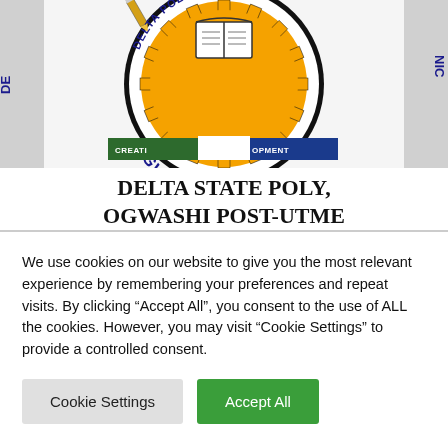[Figure (logo): Delta State Polytechnic Ogwashi-Uku institutional seal/logo: circular emblem with orange gear ring, open book at top, text 'OGWASHI-UKU' and 'DELTA POLYTECHNIC' around the ring in dark blue, green and blue banners at bottom with partial text 'CREATI... OPMENT', pencil at top left]
DELTA STATE POLY, OGWASHI POST-UTME
We use cookies on our website to give you the most relevant experience by remembering your preferences and repeat visits. By clicking "Accept All", you consent to the use of ALL the cookies. However, you may visit "Cookie Settings" to provide a controlled consent.
Cookie Settings | Accept All